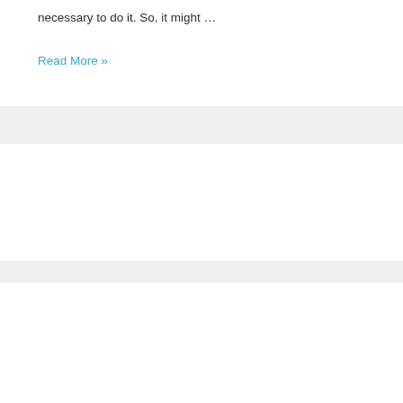necessary to do it. So, it might …
Read More »
[Figure (other): Search input field with rounded border and a teal/blue square search button on the right]